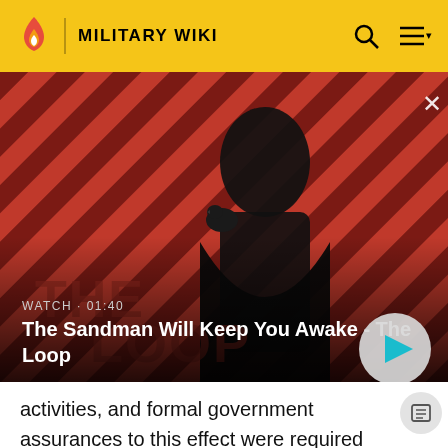MILITARY WIKI
[Figure (screenshot): Video thumbnail showing a dark figure with a raven on their shoulder against a red and black diagonal striped background. Shows 'WATCH · 01:40' label and title 'The Sandman Will Keep You Awake - The Loop' with a play button.]
activities, and formal government assurances to this effect were required from recipients. The Guidelines also recognised the need for physical protection measures in the transfer of sensitive facilities, technology and weapons-usable materials, and strengthened retransfer